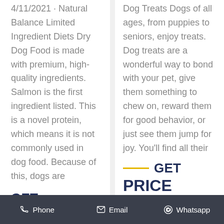4/11/2021 · Natural Balance Limited Ingredient Diets Dry Dog Food is made with premium, high-quality ingredients. Salmon is the first ingredient listed. This is a novel protein, which means it is not commonly used in dog food. Because of this, dogs are
GET
Dog Treats Dogs of all ages, from puppies to seniors, enjoy treats. Dog treats are a wonderful way to bond with your pet, give them something to chew on, reward them for good behavior, or just see them jump for joy. You'll find all their
— GET PRICE
Phone   Email   Whatsapp